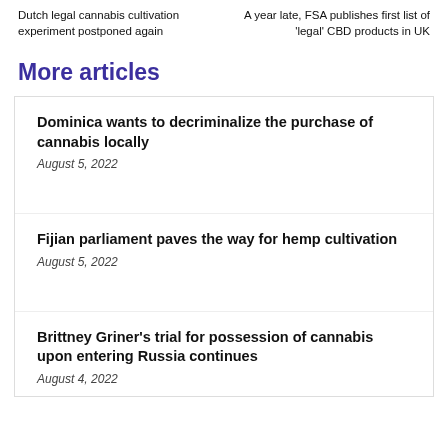Dutch legal cannabis cultivation experiment postponed again
A year late, FSA publishes first list of ‘legal’ CBD products in UK
More articles
Dominica wants to decriminalize the purchase of cannabis locally
August 5, 2022
Fijian parliament paves the way for hemp cultivation
August 5, 2022
Brittney Griner’s trial for possession of cannabis upon entering Russia continues
August 4, 2022